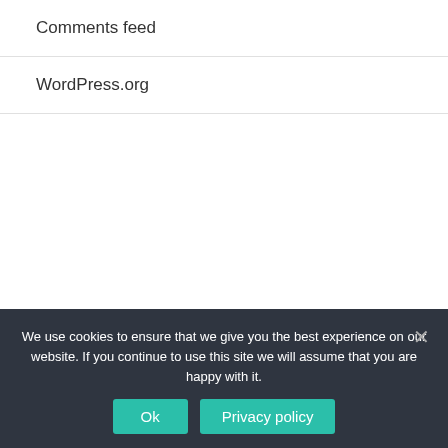Comments feed
WordPress.org
ARCHIVES
August 2016
June 2016
We use cookies to ensure that we give you the best experience on our website. If you continue to use this site we will assume that you are happy with it.
Ok
Privacy policy